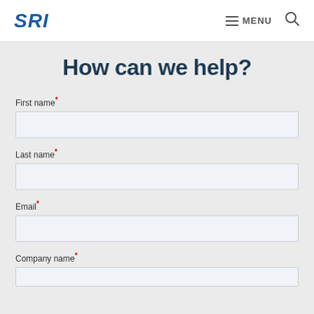SRI  MENU
How can we help?
First name*
Last name*
Email*
Company name*